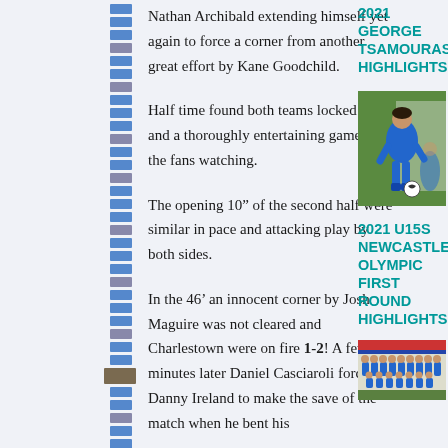Nathan Archibald extending himself yet again to force a corner from another great effort by Kane Goodchild.
2021 GEORGE TSAMOURAS HIGHLIGHTS
Half time found both teams locked at 1-1 and a thoroughly entertaining game for the fans watching.
[Figure (photo): Soccer player in blue kit dribbling with a ball on a green pitch]
The opening 10” of the second half were similar in pace and attacking play by both sides.
2021 U15S NEWCASTLE OLYMPIC FIRST ROUND HIGHLIGHTS
In the 46’ an innocent corner by Josh Maguire was not cleared and Charlestown were on fire 1-2! A few minutes later Daniel Casciaroli forced Danny Ireland to make the save of the match when he bent his
[Figure (photo): Team photo of youth soccer players in blue kits]